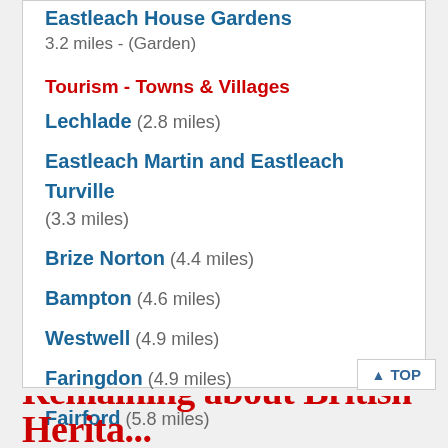Eastleach House Gardens
3.2 miles - (Garden)
Tourism - Towns & Villages
Lechlade (2.8 miles)
Eastleach Martin and Eastleach Turville (3.3 miles)
Brize Norton (4.4 miles)
Bampton (4.6 miles)
Westwell (4.9 miles)
Faringdon (4.9 miles)
Fairford (5.8 miles)
▲ TOP
Remaining text about British Heritage...